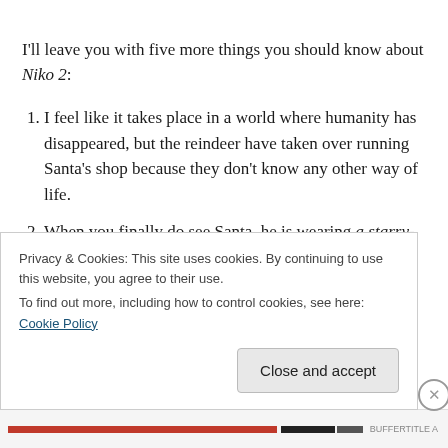I'll leave you with five more things you should know about Niko 2:
I feel like it takes place in a world where humanity has disappeared, but the reindeer have taken over running Santa's shop because they don't know any other way of life.
When you finally do see Santa, he is wearing a starry-night cape.
There is an ermine (not a particularly endearing
Privacy & Cookies: This site uses cookies. By continuing to use this website, you agree to their use.
To find out more, including how to control cookies, see here: Cookie Policy
Close and accept